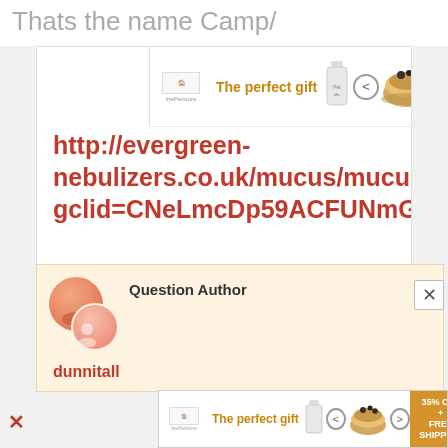Thats the name Camp/
[Figure (screenshot): Advertisement banner: 'The perfect gift' with food bowl image, arrows, and '35% OFF + FREE SHIPPING' offer in orange]
http://evergreen-nebulizers.co.uk/mucus/mucus_clearance.html?gclid=CNeLmcDp59ACFUNmGwodV9MJmA
·
20:18 Fri 09th Dec 2016
Question Author
dunnitall
[Figure (screenshot): Second advertisement banner: 'The perfect gift' with food bowl image, arrows, and '35% OFF + FREE SHIPPING' offer in orange]